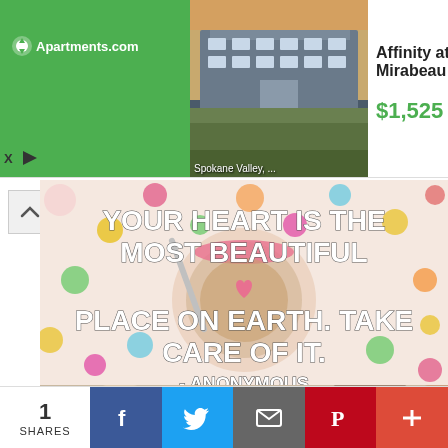[Figure (screenshot): Apartments.com advertisement banner for Affinity at Mirabeau, Spokane Valley, $1,525 with More Info button]
[Figure (photo): Motivational quote image with colorful polka dot background and coffee cup: YOUR HEART IS THE MOST BEAUTIFUL PLACE ON EARTH. TAKE CARE OF IT. - ANONYMOUS]
[Figure (photo): Blurred photo of people]
[Figure (screenshot): Social share bar with 1 SHARES count and Facebook, Twitter, Email, Pinterest, Plus buttons]